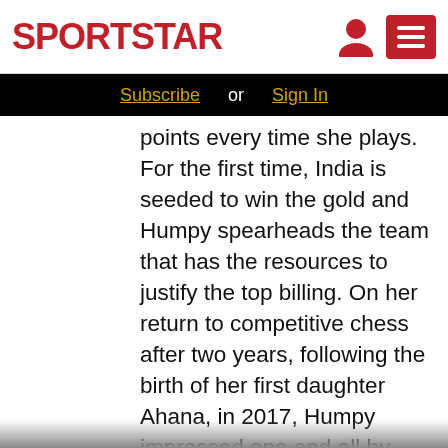SPORTSTAR
Subscribe or Sign In
points every time she plays. For the first time, India is seeded to win the gold and Humpy spearheads the team that has the resources to justify the top billing. On her return to competitive chess after two years, following the birth of her first daughter Ahana, in 2017, Humpy impressed one and all by winning the 2019 women rapid title. Even during the 2018 Olympiad, she reproduced her magic by scoring five points from six rounds. However, between the eighth and 10th rounds — against Hungary, Italy and Peru — Humpy managed only half a